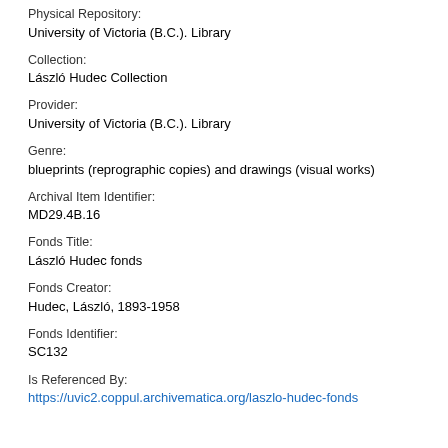Physical Repository:
University of Victoria (B.C.). Library
Collection:
László Hudec Collection
Provider:
University of Victoria (B.C.). Library
Genre:
blueprints (reprographic copies) and drawings (visual works)
Archival Item Identifier:
MD29.4B.16
Fonds Title:
László Hudec fonds
Fonds Creator:
Hudec, László, 1893-1958
Fonds Identifier:
SC132
Is Referenced By:
https://uvic2.coppul.archivematica.org/laszlo-hudec-fonds